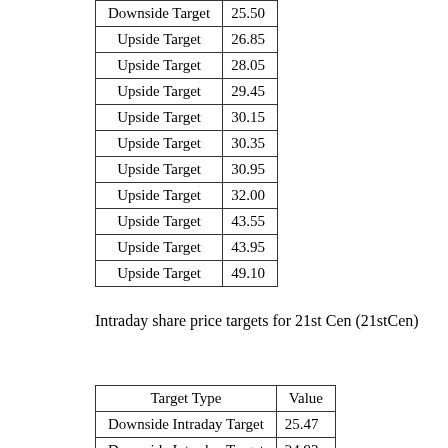|  |  |
| --- | --- |
| Downside Target | 25.50 |
| Upside Target | 26.85 |
| Upside Target | 28.05 |
| Upside Target | 29.45 |
| Upside Target | 30.15 |
| Upside Target | 30.35 |
| Upside Target | 30.95 |
| Upside Target | 32.00 |
| Upside Target | 43.55 |
| Upside Target | 43.95 |
| Upside Target | 49.10 |
Intraday share price targets for 21st Cen (21stCen)
| Target Type | Value |
| --- | --- |
| Downside Intraday Target | 25.47 |
| Downside Intraday Target | 24.93 |